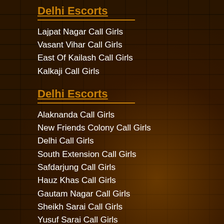Delhi Escorts
Lajpat Nagar Call Girls
Vasant Vihar Call Girls
East Of Kailash Call Girls
Kalkaji Call Girls
Delhi Escorts
Alaknanda Call Girls
New Friends Colony Call Girls
Delhi Call Girls
South Extension Call Girls
Safdarjung Call Girls
Hauz Khas Call Girls
Gautam Nagar Call Girls
Sheikh Sarai Call Girls
Yusuf Sarai Call Girls
Sukhdev Vihar Call Girls
Vasant Kunj Call Girls
Malviya Nagar Call Girls
Sarvodaya Enclave Call Girls
Shantiniketan Call Girls